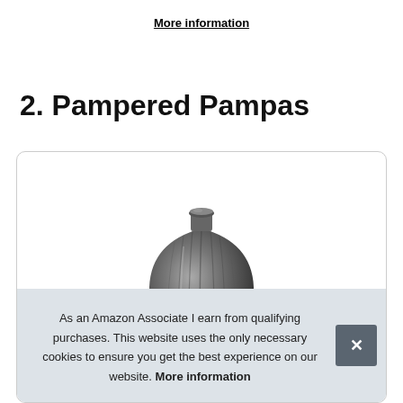More information
2. Pampered Pampas
[Figure (photo): A dark grey ribbed ceramic vase with a round bulbous body and narrow neck, shown against a white background inside a product card with rounded border.]
As an Amazon Associate I earn from qualifying purchases. This website uses the only necessary cookies to ensure you get the best experience on our website. More information